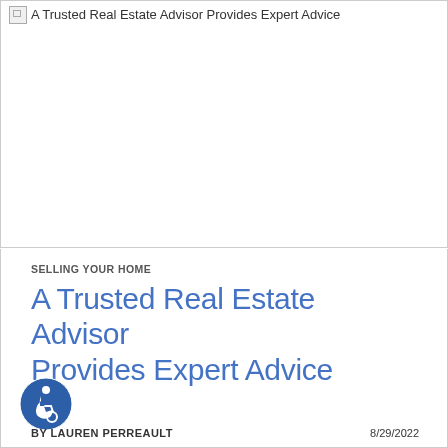[Figure (photo): Broken image placeholder showing alt text: A Trusted Real Estate Advisor Provides Expert Advice]
SELLING YOUR HOME
A Trusted Real Estate Advisor Provides Expert Advice
BY LAUREN PERREAULT    8/29/2022